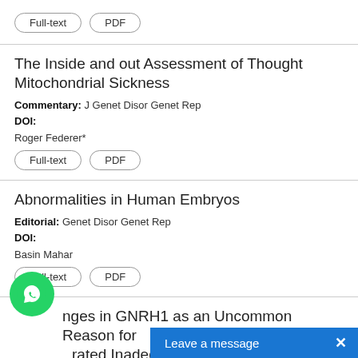Full-text | PDF
The Inside and out Assessment of Thought Mitochondrial Sickness
Commentary: J Genet Disor Genet Rep
DOI:
Roger Federer*
Full-text | PDF
Abnormalities in Human Embryos
Editorial: Genet Disor Genet Rep
DOI:
Basin Mahar
Full-text | PDF
Ch nges in GNRH1 as an Uncommon Reason for rated Inadequacy
Co mentary: J Genet Disor Genet Rep
DOI: